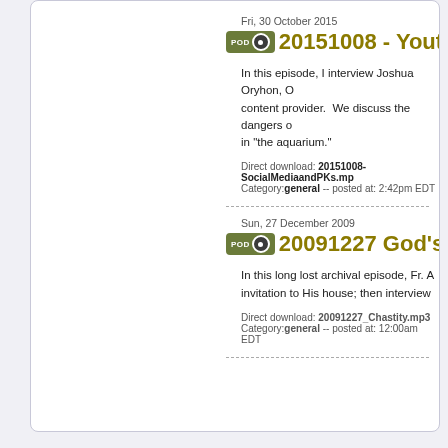Fri, 30 October 2015
20151008 - Youth, O
In this episode, I interview Joshua Oryhon, O content provider. We discuss the dangers o in "the aquarium."
Direct download: 20151008-SocialMediaandPKs.mp Category:general -- posted at: 2:42pm EDT
Sun, 27 December 2009
20091227 God's Inv
In this long lost archival episode, Fr. A invitation to His house; then interview
Direct download: 20091227_Chastity.mp3
Category:general -- posted at: 12:00am EDT